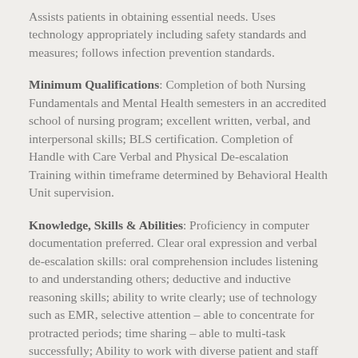Assists patients in obtaining essential needs. Uses technology appropriately including safety standards and measures; follows infection prevention standards.
Minimum Qualifications: Completion of both Nursing Fundamentals and Mental Health semesters in an accredited school of nursing program; excellent written, verbal, and interpersonal skills; BLS certification. Completion of Handle with Care Verbal and Physical De-escalation Training within timeframe determined by Behavioral Health Unit supervision.
Knowledge, Skills & Abilities: Proficiency in computer documentation preferred. Clear oral expression and verbal de-escalation skills: oral comprehension includes listening to and understanding others; deductive and inductive reasoning skills; ability to write clearly; use of technology such as EMR, selective attention – able to concentrate for protracted periods; time sharing – able to multi-task successfully; Ability to work with diverse patient and staff